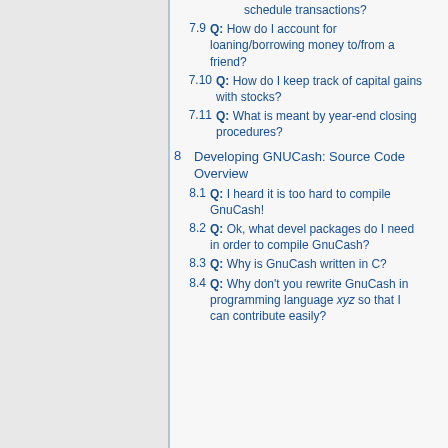7.9 Q: How do I account for loaning/borrowing money to/from a friend?
7.10 Q: How do I keep track of capital gains with stocks?
7.11 Q: What is meant by year-end closing procedures?
8 Developing GNUCash: Source Code Overview
8.1 Q: I heard it is too hard to compile GnuCash!
8.2 Q: Ok, what devel packages do I need in order to compile GnuCash?
8.3 Q: Why is GnuCash written in C?
8.4 Q: Why don't you rewrite GnuCash in programming language xyz so that I can contribute easily?